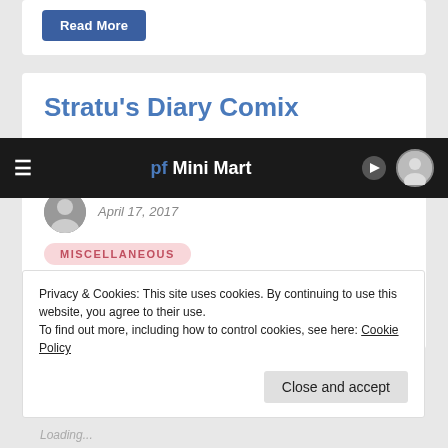[Figure (screenshot): Read More button (blue rounded rectangle)]
Stratu's Diary Comix
pf Mini Mart
April 17, 2017
MISCELLANEOUS
Have you seen Stuart Stratu's daily diary series? Fun stuff from the mastermind behind the Sick Puppy
Privacy & Cookies: This site uses cookies. By continuing to use this website, you agree to their use.
To find out more, including how to control cookies, see here: Cookie Policy
Close and accept
Loading...